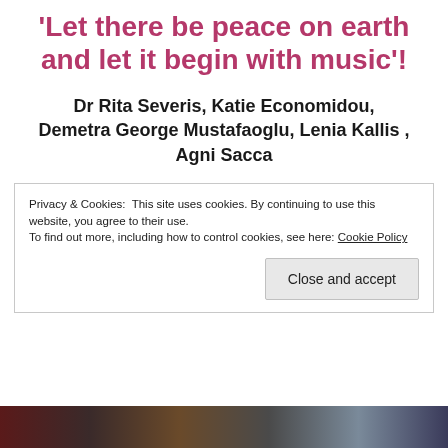'Let there be peace on earth and let it begin with music'!
Dr Rita Severis, Katie Economidou, Demetra George Mustafaoglu, Lenia Kallis , Agni Sacca
Privacy & Cookies: This site uses cookies. By continuing to use this website, you agree to their use.
To find out more, including how to control cookies, see here: Cookie Policy
Close and accept
[Figure (photo): A strip of photographs at the bottom of the page showing people, partially visible.]